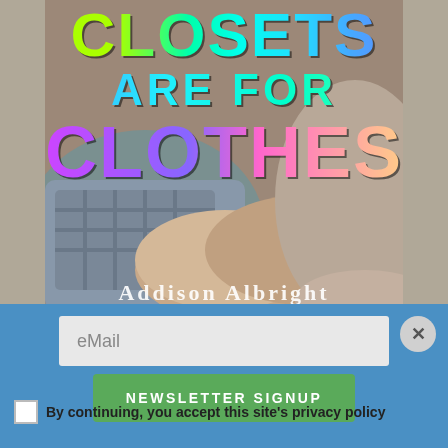[Figure (illustration): Book cover for 'Closets Are For Clothes' by Addison Albright. Colorful rainbow gradient text titles over a background showing intertwined hands/arms of people.]
eMail
NEWSLETTER SIGNUP
By continuing, you accept this site's privacy policy